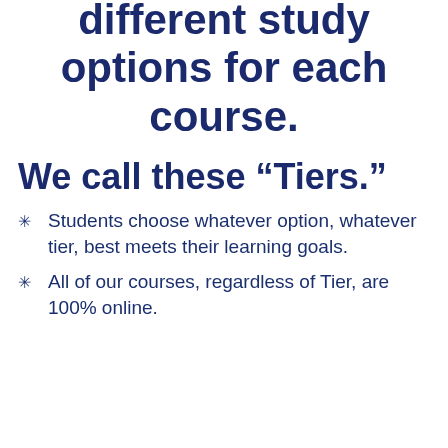different study options for each course.
We call these “Tiers.”
Students choose whatever option, whatever tier, best meets their learning goals.
All of our courses, regardless of Tier, are 100% online.